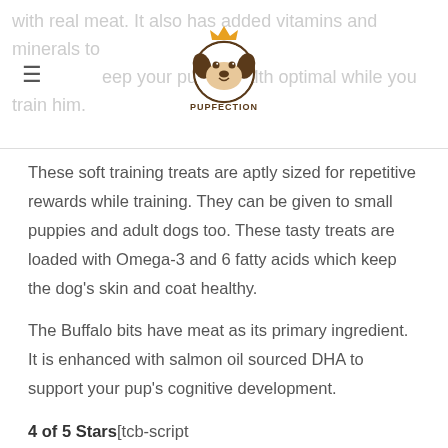with real meat. It also has added vitamins and minerals to keep your pup's health optimal while you train him.
[Figure (logo): Pupfection logo: cartoon dog face with crown and text PUPFECTION]
These soft training treats are aptly sized for repetitive rewards while training. They can be given to small puppies and adult dogs too. These tasty treats are loaded with Omega-3 and 6 fatty acids which keep the dog's skin and coat healthy.
The Buffalo bits have meat as its primary ingredient. It is enhanced with salmon oil sourced DHA to support your pup's cognitive development.
4 of 5 Stars[tcb-script type="text/javascript"]amzn_assoc_placement =